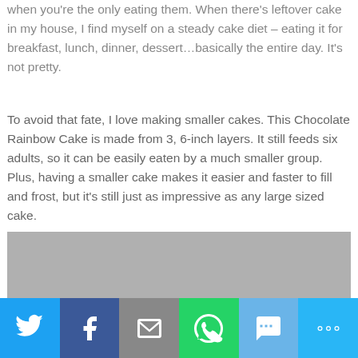when you're the only eating them. When there's leftover cake in my house, I find myself on a steady cake diet – eating it for breakfast, lunch, dinner, dessert…basically the entire day. It's not pretty.
To avoid that fate, I love making smaller cakes. This Chocolate Rainbow Cake is made from 3, 6-inch layers. It still feeds six adults, so it can be easily eaten by a much smaller group. Plus, having a smaller cake makes it easier and faster to fill and frost, but it's still just as impressive as any large sized cake.
[Figure (photo): A gray placeholder image for a cake photo]